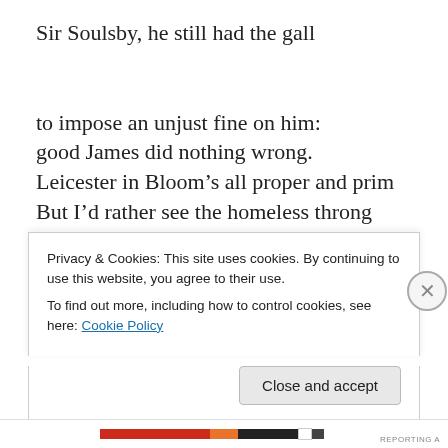Sir Soulsby, he still had the gall
to impose an unjust fine on him:
good James did nothing wrong.
Leicester in Bloom’s all proper and prim
But I’d rather see the homeless throng
provided with places for their needs;
Privacy & Cookies: This site uses cookies. By continuing to use this website, you agree to their use.
To find out more, including how to control cookies, see here: Cookie Policy